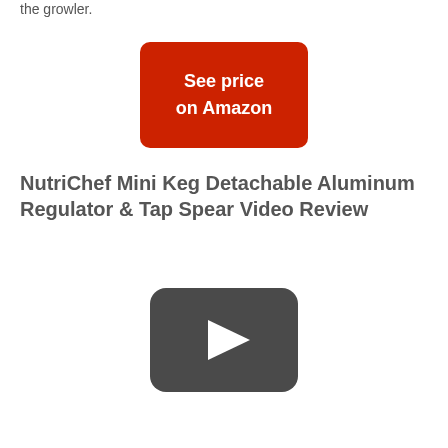the growler.
[Figure (screenshot): Red rounded rectangle button with white bold text reading 'See price on Amazon']
NutriChef Mini Keg Detachable Aluminum Regulator & Tap Spear Video Review
[Figure (other): YouTube-style play button icon: dark gray rounded rectangle with white triangle play arrow in the center]